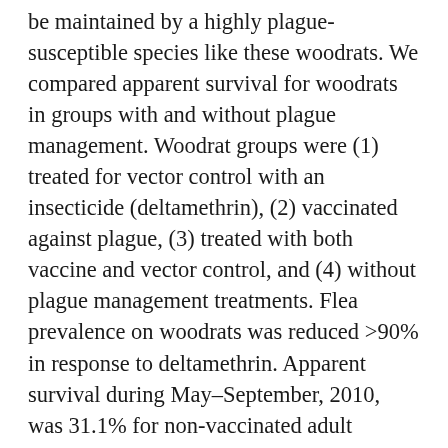be maintained by a highly plague-susceptible species like these woodrats. We compared apparent survival for woodrats in groups with and without plague management. Woodrat groups were (1) treated for vector control with an insecticide (deltamethrin), (2) vaccinated against plague, (3) treated with both vaccine and vector control, and (4) without plague management treatments. Flea prevalence on woodrats was reduced >90% in response to deltamethrin. Apparent survival during May–September, 2010, was 31.1% for non-vaccinated adult woodrats living in deltamethrin-treated nests, compared to 9.6% for woodrats in non-treated nests. During May–September of 2010 and 2011, vaccinated juvenile woodrat survival was 16.8%, compared to 8.4% for non-vaccinated juveniles. Peak numbers of woodrats captured